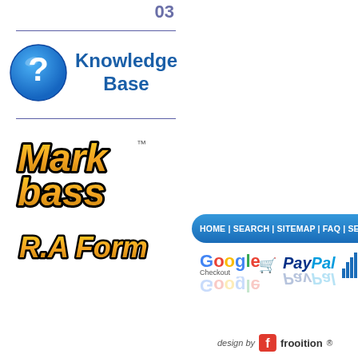03
[Figure (logo): Knowledge Base icon with blue question mark circle and text 'Knowledge Base']
[Figure (logo): Markbass logo with R.A Form text]
[Figure (infographic): Navigation bar with HOME | SEARCH | SITEMAP | FAQ | SEC...]
[Figure (logo): Google Checkout and PayPal logos with reflection]
[Figure (logo): Design by Frooition logo at bottom]